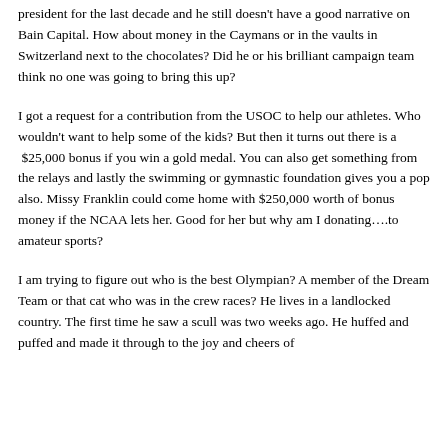president for the last decade and he still doesn't have a good narrative on Bain Capital. How about money in the Caymans or in the vaults in Switzerland next to the chocolates? Did he or his brilliant campaign team think no one was going to bring this up?
I got a request for a contribution from the USOC to help our athletes. Who wouldn't want to help some of the kids? But then it turns out there is a  $25,000 bonus if you win a gold medal. You can also get something from the relays and lastly the swimming or gymnastic foundation gives you a pop also. Missy Franklin could come home with $250,000 worth of bonus money if the NCAA lets her. Good for her but why am I donating….to amateur sports?
I am trying to figure out who is the best Olympian? A member of the Dream Team or that cat who was in the crew races? He lives in a landlocked country. The first time he saw a scull was two weeks ago. He huffed and puffed and made it through to the joy and cheers of